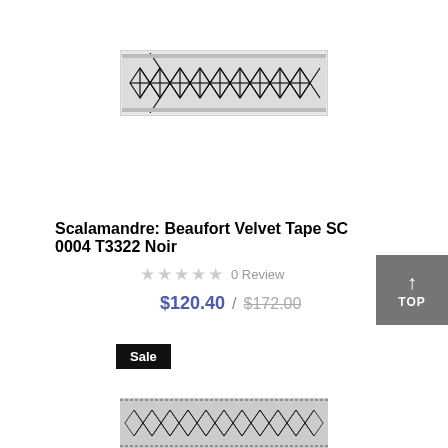[Figure (photo): Scalamandre Beaufort Velvet Tape product swatch — black interlocking diamond/lattice woven trim on light background]
Scalamandre: Beaufort Velvet Tape SC 0004 T3322 Noir
★★★★★ 0 Review
$120.40 / $172.00
Sale
[Figure (photo): Second product swatch image partially visible at bottom — black and white woven tape trim pattern]